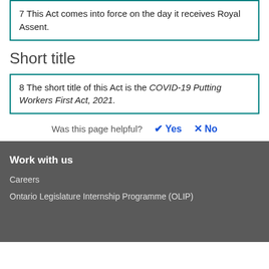7 This Act comes into force on the day it receives Royal Assent.
Short title
8 The short title of this Act is the COVID-19 Putting Workers First Act, 2021.
Was this page helpful? ✔ Yes ✗ No
Work with us
Careers
Ontario Legislature Internship Programme (OLIP)